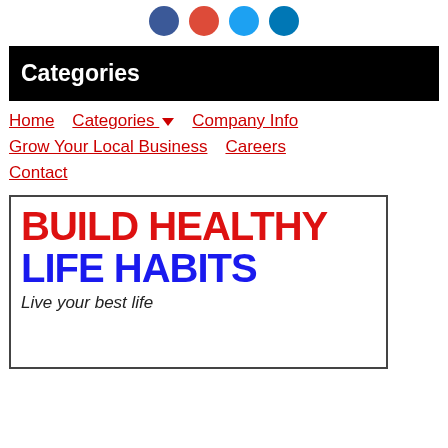[Figure (other): Row of four social media icon circles: Facebook (blue), Google+ (red), Twitter (light blue), LinkedIn (dark blue)]
Categories
Home
Categories ▾
Company Info
Grow Your Local Business
Careers
Contact
[Figure (other): Banner image with text: BUILD HEALTHY LIFE HABITS – Live your best life]